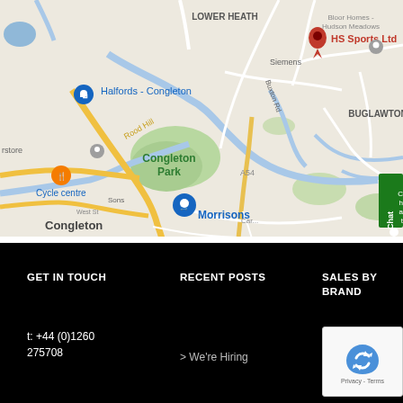[Figure (map): Google Maps screenshot showing Congleton area, UK. Red pin labeled 'HS Sports Ltd' near Buglawton. Labels include: Lower Heath, Siemens, Halfords - Congleton, Rood Hill, Congleton Park, Cycle centre, Morrisons, Congleton, Buxton Rd, A54, Promo Bikes, Bloor Homes - Hudson Meadows. Blue river lines, yellow road lines, green park area. Blue shopping cart pin for Morrisons, blue bag pin for Promo Bikes, blue bag pin for Halfords. Green Chat button on right edge.]
GET IN TOUCH
RECENT POSTS
SALES BY BRAND
t: +44 (0)1260 275708
> We're Hiring
Alge